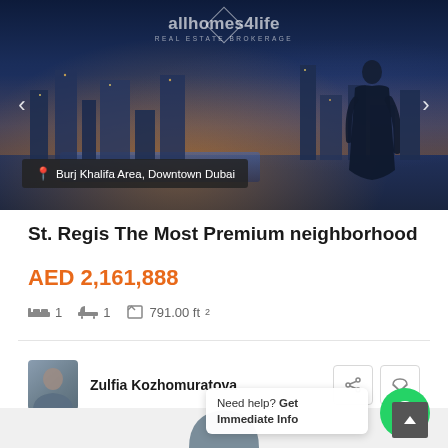[Figure (photo): Hero image of Dubai cityscape at night with Burj Khalifa Area/Downtown Dubai, showing city lights and waterway. Navigation arrows on left and right. Watermark 'allhomes4life REAL ESTATE FROKERAGE' overlaid. Female silhouette figure on right side. Location tag reading 'Burj Khalifa Area, Downtown Dubai' at bottom left.]
St. Regis The Most Premium neighborhood
AED 2,161,888
1  1  791.00 ft²
Zulfia Kozhomoruratova
Need help? Get Immediate Info